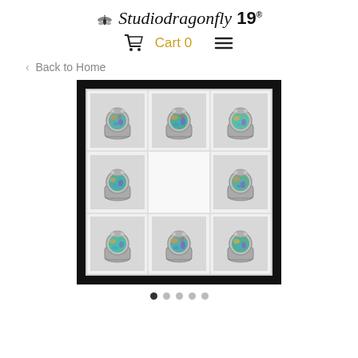[Figure (logo): Studiodragonfly19 logo with dragonfly illustration, italic script text 'Studiodragonfly' followed by '19' with registered trademark symbol]
[Figure (infographic): Navigation bar with shopping cart icon showing 'Cart 0' in orange and hamburger menu icon]
< Back to Home
[Figure (photo): Product photo showing 8 dragonfly charm rings with colorful iridescent/opal stones arranged in a 3x3 grid with black border frame]
[Figure (infographic): Pagination dots: 5 dots with first one filled/dark indicating current page 1 of 5]